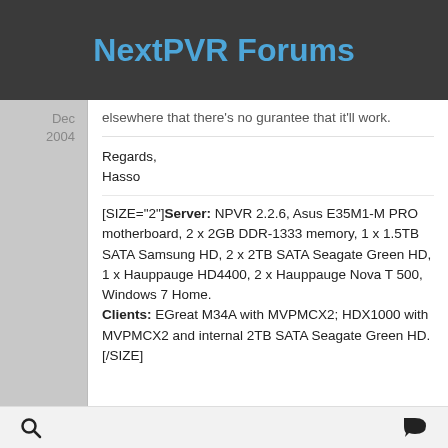NextPVR Forums
elsewhere that there's no gurantee that it'll work.
Regards,
Hasso
[SIZE="2"]Server: NPVR 2.2.6, Asus E35M1-M PRO motherboard, 2 x 2GB DDR-1333 memory, 1 x 1.5TB SATA Samsung HD, 2 x 2TB SATA Seagate Green HD, 1 x Hauppauge HD4400, 2 x Hauppauge Nova T 500, Windows 7 Home.
Clients: EGreat M34A with MVPMCX2; HDX1000 with MVPMCX2 and internal 2TB SATA Seagate Green HD.[/SIZE]
Search | Chat